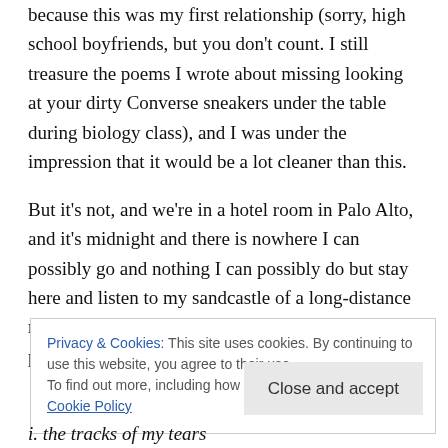because this was my first relationship (sorry, high school boyfriends, but you don't count. I still treasure the poems I wrote about missing looking at your dirty Converse sneakers under the table during biology class), and I was under the impression that it would be a lot cleaner than this.
But it's not, and we're in a hotel room in Palo Alto, and it's midnight and there is nowhere I can possibly go and nothing I can possibly do but stay here and listen to my sandcastle of a long-distance romance—with a man nine years my senior and polar opposite from me in
Privacy & Cookies: This site uses cookies. By continuing to use this website, you agree to their use.
To find out more, including how to control cookies, see here:
Cookie Policy
[Close and accept]
i. the tracks of my tears